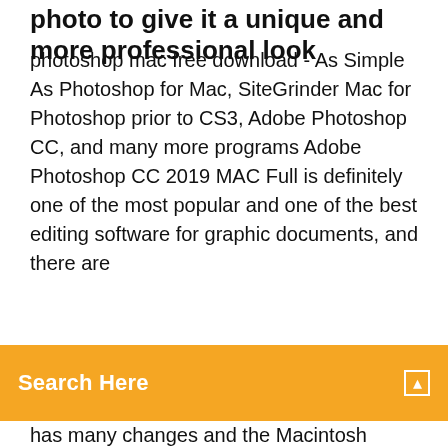photo to give it a unique and more professional look
photoshop mac free download - As Simple As Photoshop for Mac, SiteGrinder Mac for Photoshop prior to CS3, Adobe Photoshop CC, and many more programs Adobe Photoshop CC 2019 MAC Full is definitely one of the most popular and one of the best editing software for graphic documents, and there are
[Figure (screenshot): Orange search bar UI element with 'Search Here' placeholder text and a search icon on the right]
has many changes and the Macintosh features were added a lot. The new version of the live video editing has … photoshop mac free download - As Simple As Photoshop for Mac, SiteGrinder Mac for Photoshop prior to CS3, Adobe Photoshop, and many more programs Why macOS Catalina Torrent Image. Installing macOS Catalina on Windows at least for some is the most difficult thing they had done. The first thing they need to do is download the macOS Catalina image VMDK file which is particularly macOS Catalina VMware & VirtualBox image (that can be also installed with this) which might be the most difficult